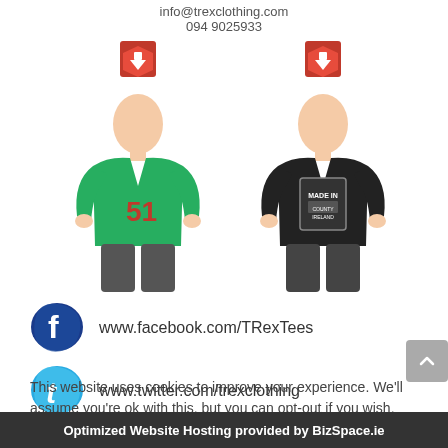info@trexclothing.com
094 9025933
[Figure (photo): Two men wearing T-Rex branded t-shirts. Left man wears a green shirt with number 51, right man wears a black shirt with a label design. Both have T-Rex shield logos above them.]
[Figure (infographic): Facebook logo (blue splash with 'f') with text: www.facebook.com/TRexTees]
[Figure (infographic): Twitter logo (light blue splash with 't') with text: www.twitter.com/trexclothing]
This website uses cookies to improve your experience. We'll assume you're ok with this, but you can opt-out if you wish.
Optimized Website Hosting provided by BizSpace.ie